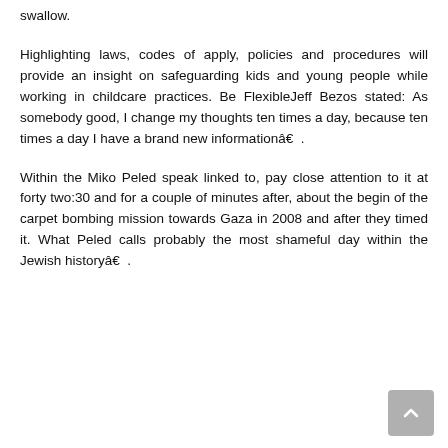swallow.
Highlighting laws, codes of apply, policies and procedures will provide an insight on safeguarding kids and young people while working in childcare practices. Be FlexibleJeff Bezos stated: As somebody good, I change my thoughts ten times a day, because ten times a day I have a brand new informationâ€ .
Within the Miko Peled speak linked to, pay close attention to it at forty two:30 and for a couple of minutes after, about the begin of the carpet bombing mission towards Gaza in 2008 and after they timed it. What Peled calls probably the most shameful day within the Jewish historyâ€ .